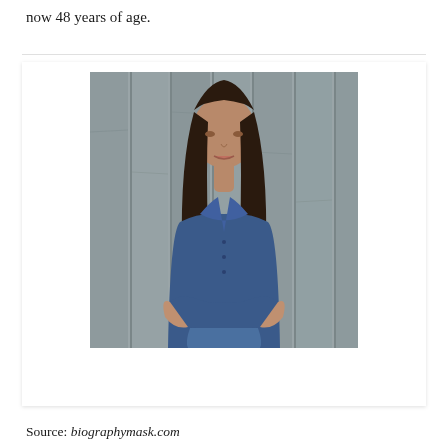now 48 years of age.
[Figure (photo): A young girl with long dark hair wearing a denim jacket, sitting against a wooden plank background, in a professional portrait style photo.]
Source: biographymask.com